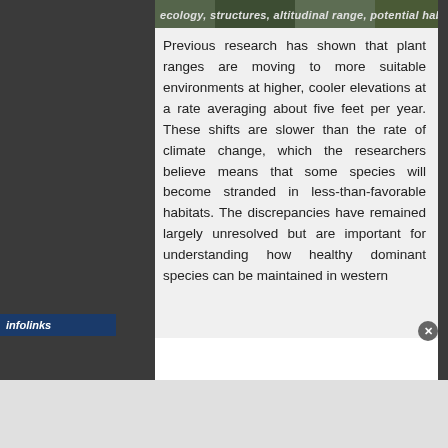[Figure (photo): Partial image strip at top showing vegetation/forest scene, partially obscured with overlaid italic bold text reading: ecology, structures, altitudinal range, potential habitat]
Previous research has shown that plant ranges are moving to more suitable environments at higher, cooler elevations at a rate averaging about five feet per year. These shifts are slower than the rate of climate change, which the researchers believe means that some species will become stranded in less-than-favorable habitats. The discrepancies have remained largely unresolved but are important for understanding how healthy dominant species can be maintained in western